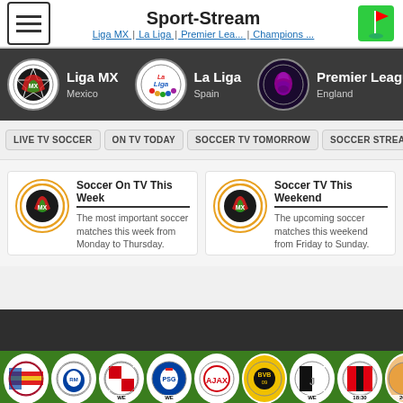Sport-Stream
Liga MX | La Liga | Premier Lea... | Champions ...
[Figure (screenshot): Liga MX league logo circle]
Liga MX - Mexico
[Figure (screenshot): La Liga league logo circle]
La Liga - Spain
[Figure (screenshot): Premier League lion logo circle]
Premier League - England
[Figure (screenshot): Champions League logo circle partially visible]
C... - Eu...
LIVE TV SOCCER | ON TV TODAY | SOCCER TV TOMORROW | SOCCER STREAMS
Soccer On TV This Week - The most important soccer matches this week from Monday to Thursday.
Soccer TV This Weekend - The upcoming soccer matches this weekend from Friday to Sunday.
[Figure (screenshot): Row of football club team badges: Barcelona, Real Madrid, Bayern Munich, PSG, Ajax, Borussia Dortmund, Juventus, AC Milan, and one more]